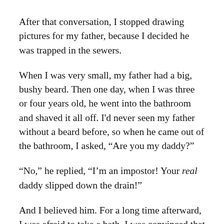After that conversation, I stopped drawing pictures for my father, because I decided he was trapped in the sewers.
When I was very small, my father had a big, bushy beard. Then one day, when I was three or four years old, he went into the bathroom and shaved it all off. I'd never seen my father without a beard before, so when he came out of the bathroom, I asked, “Are you my daddy?”
“No,” he replied, “I’m an impostor! Your real daddy slipped down the drain!”
And I believed him. For a long time afterward, I was afraid to take a bath. I was convinced that I would slip